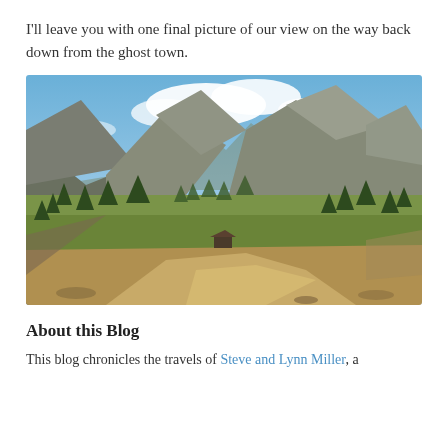I'll leave you with one final picture of our view on the way back down from the ghost town.
[Figure (photo): Mountain valley landscape with a dirt road winding through a high alpine valley, surrounded by rocky peaks, conifer forests, and a small structure in the middle distance. Blue sky with white clouds above.]
About this Blog
This blog chronicles the travels of Steve and Lynn Miller, a